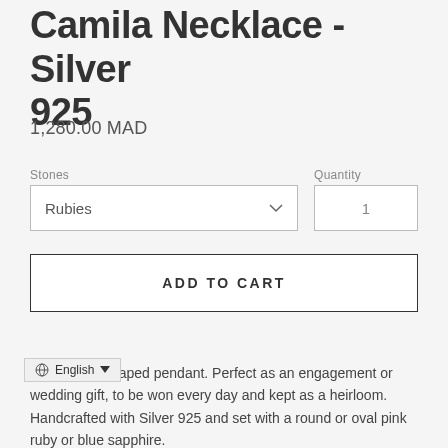Camila Necklace - Silver 925
1,280.00 MAD
Stones
Quantity
Rubies
1
ADD TO CART
Organically shaped pendant. Perfect as an engagement or wedding gift, to be won every day and kept as a heirloom. Handcrafted with Silver 925 and set with a round or oval pink ruby or blue sapphire.